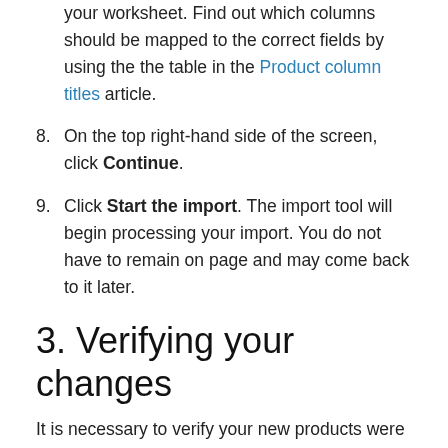your worksheet. Find out which columns should be mapped to the correct fields by using the the table in the Product column titles article.
8. On the top right-hand side of the screen, click Continue.
9. Click Start the import. The import tool will begin processing your import. You do not have to remain on page and may come back to it later.
3. Verifying your changes
It is necessary to verify your new products were successfully imported after starting an import. After checking the import tool for...